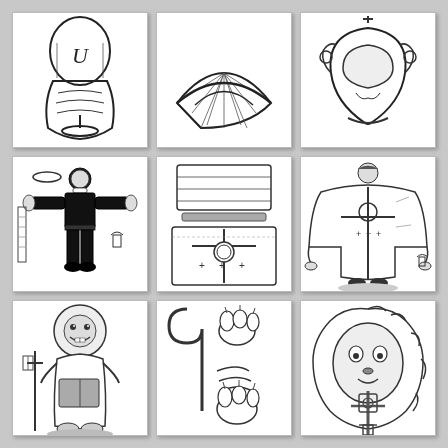[Figure (illustration): Black and white line drawing of a decorative chalice/cup with ornate details, shown from the side with pages/book visible]
[Figure (illustration): Black and white line drawing of a biretta (Catholic clerical hat) shown from above with radiating lines]
[Figure (illustration): Black and white line drawing of an ornate helmet or head covering with decorative embellishments]
[Figure (illustration): Black and white line drawing paper doll of a Catholic priest in black clerical clothing with arms outstretched, alongside vestment accessories]
[Figure (illustration): Black and white line drawing of folded Catholic vestments/chasubles laid flat showing cross decorations]
[Figure (illustration): Black and white line drawing paper doll of a Catholic priest dressed in white vestments/chasuble with cross decoration]
[Figure (illustration): Black and white line drawing of a cartoon lion character dressed as a shepherd with staff and cross]
[Figure (illustration): Black and white line drawing of a shepherd's crook/crozier and animal paws/claws pieces for a paper doll]
[Figure (illustration): Black and white line drawing of a lion's head and an ornate processional cross/staff]